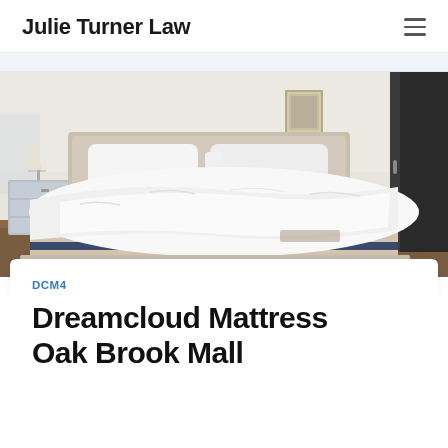Julie Turner Law
[Figure (photo): A modern bedroom scene with a DreamCloud mattress on a beige upholstered bed frame, white bedding draped over it, a gray dresser with a lamp on the left, framed art on the wall, and a dark doorway on the right.]
DCM4
Dreamcloud Mattress Oak Brook Mall